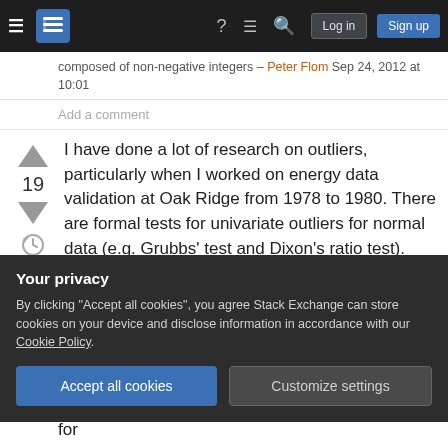Stack Exchange navigation bar with Log in and Sign up buttons
composed of non-negative integers – Peter Flom Sep 24, 2012 at 10:01
Add a comment
I have done a lot of research on outliers, particularly when I worked on energy data validation at Oak Ridge from 1978 to 1980. There are formal tests for univariate outliers for normal data (e.g. Grubbs' test and Dixon's ratio test). There are tests for multivariate outliers and time series. The book by Barnett and Lewis on "Outliers in Statistical Data" is
Your privacy
By clicking "Accept all cookies", you agree Stack Exchange can store cookies on your device and disclose information in accordance with our Cookie Policy.
above the mean and highly below the mean). But for